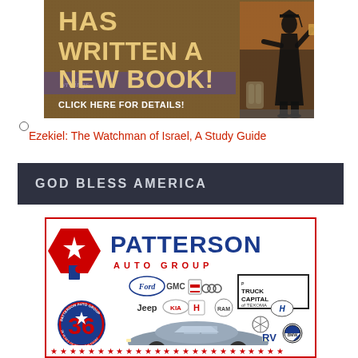[Figure (illustration): Advertisement banner with brown leather-look background showing bold text 'HAS WRITTEN A NEW BOOK!' with 'CLICK HERE FOR DETAILS!' and a silhouette of a graduate figure on the right side.]
○
Ezekiel: The Watchman of Israel, A Study Guide
GOD BLESS AMERICA
[Figure (logo): Patterson Auto Group advertisement with red/blue logo, showing multiple car brand logos (Ford, GMC, Cadillac, Buick, Jeep, Kia, Honda, Dodge, Chrysler, Mercedes, Hyundai, BMW), a 36-years badge, a silver sedan car, Truck Capital of Texoma box, RV text, and a row of red stars at the bottom.]